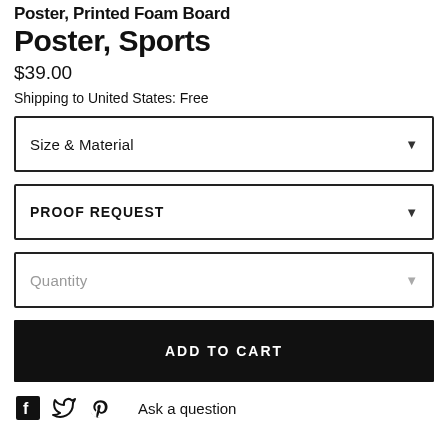Poster, Printed Foam Board Poster, Sports
$39.00
Shipping to United States: Free
Size & Material
PROOF REQUEST
Quantity
ADD TO CART
Ask a question